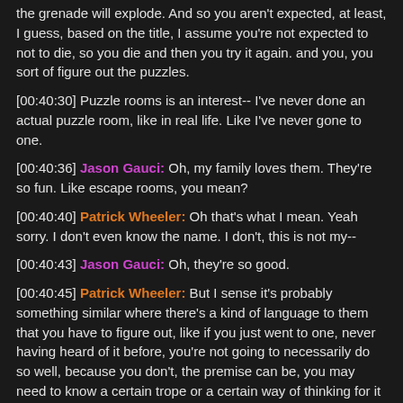the grenade will explode. And so you aren't expected, at least, I guess, based on the title, I assume you're not expected to not to die, so you die and then you try it again. and you, you sort of figure out the puzzles.
[00:40:30] Puzzle rooms is an interest-- I've never done an actual puzzle room, like in real life. Like I've never gone to one.
[00:40:36] Jason Gauci: Oh, my family loves them. They're so fun. Like escape rooms, you mean?
[00:40:40] Patrick Wheeler: Oh that's what I mean. Yeah sorry. I don't even know the name. I don't, this is not my--
[00:40:43] Jason Gauci: Oh, they're so good.
[00:40:45] Patrick Wheeler: But I sense it's probably something similar where there's a kind of language to them that you have to figure out, like if you just went to one, never having heard of it before, you're not going to necessarily do so well, because you don't, the premise can be, you may need to know a certain trope or a certain way of thinking for it to start to make sense, or the same is true of a lot of things.